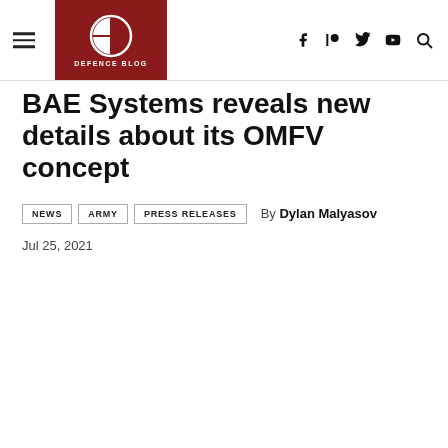DEFENCE BLOG
BAE Systems reveals new details about its OMFV concept
NEWS  ARMY  PRESS RELEASES  By Dylan Malyasov
Jul 25, 2021